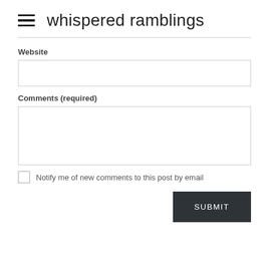whispered ramblings
Website
Comments (required)
Notify me of new comments to this post by email
SUBMIT